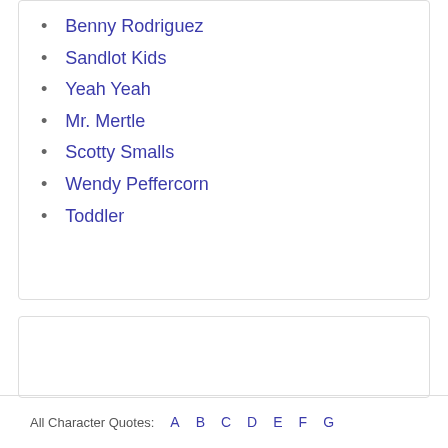Benny Rodriguez
Sandlot Kids
Yeah Yeah
Mr. Mertle
Scotty Smalls
Wendy Peffercorn
Toddler
All Character Quotes:  A  B  C  D  E  F  G